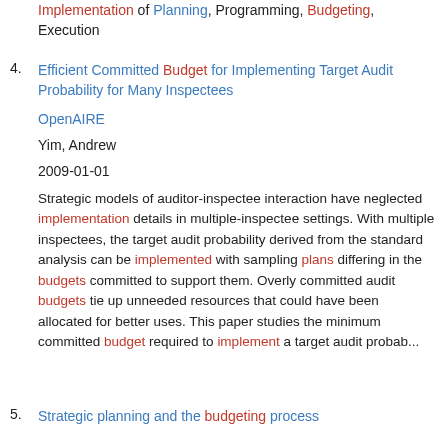Implementation of Planning, Programming, Budgeting, Execution
4. Efficient Committed Budget for Implementing Target Audit Probability for Many Inspectees
OpenAIRE
Yim, Andrew
2009-01-01
Strategic models of auditor-inspectee interaction have neglected implementation details in multiple-inspectee settings. With multiple inspectees, the target audit probability derived from the standard analysis can be implemented with sampling plans differing in the budgets committed to support them. Overly committed audit budgets tie up unneeded resources that could have been allocated for better uses. This paper studies the minimum committed budget required to implement a target audit probab...
5. Strategic planning and the budgeting process